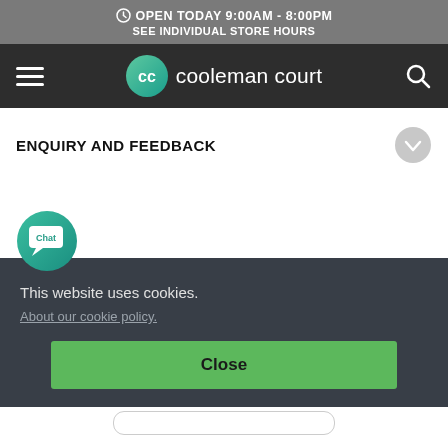OPEN TODAY 9:00AM - 8:00PM
SEE INDIVIDUAL STORE HOURS
[Figure (logo): Cooleman Court shopping centre logo with teal gradient circle and 'cc' monogram, followed by 'cooleman court' text in white]
ENQUIRY AND FEEDBACK
[Figure (illustration): Teal circular chat button with speech bubble icon and 'Chat' label]
This website uses cookies.
About our cookie policy.
Close